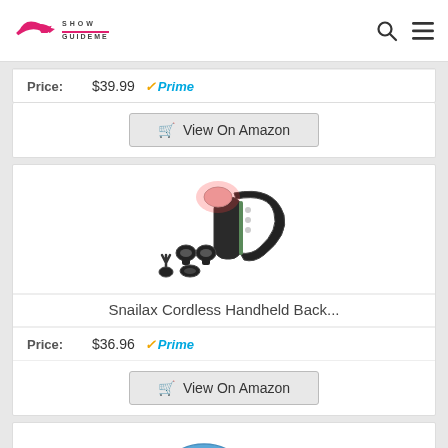ShowGuideMe
Price: $39.99 ✓Prime
View On Amazon
[Figure (photo): Snailax cordless handheld back massager with attachment heads and red light]
Snailax Cordless Handheld Back...
Price: $36.96 ✓Prime
View On Amazon
[Figure (photo): Partial view of blue massager product at bottom of page]